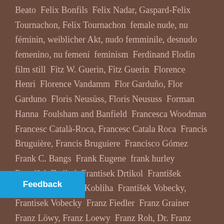Beato  Felix Bonfils  Felix Nadar, Gaspard-Felix Tournachon, Felix Tournachon  female nude, nu féminin, weiblicher Akt, nudo femminile, desnudo femenino, nu femení  feminism  Ferdinand Flodin  film still  Fitz W. Guerin, Fitz Guerin  Florence Henri  Florence Vandamm  Flor Garduño, Flor Garduno  Floris Neusüss, Floris Neususs  Forman Hanna  Foulsham and Banfield  Francesca Woodman  Francesc Català-Roca, Francesc Catala Roca  Francis Bruguière, Francis Bruguiere  Francisco Gómez  Frank C. Bangs  Frank Eugene  frank hurley  František Drtikol, Frantisek Drtikol  František Kobliha, Frantisek Kobliha  František Vobecky, Frantisek Vobecky  Franz Fiedler  Franz Grainer  Franz Löwy, Franz Loewy  Franz Roh, Dr. Franz Roh  Franz Schensky  Franz von Stuck  [Feedback] etzer  François Kollar, Ferenc Kollár  Fratelli Alinari, Alinari Brothers  Fratelli Bragaglia, Bragaglia